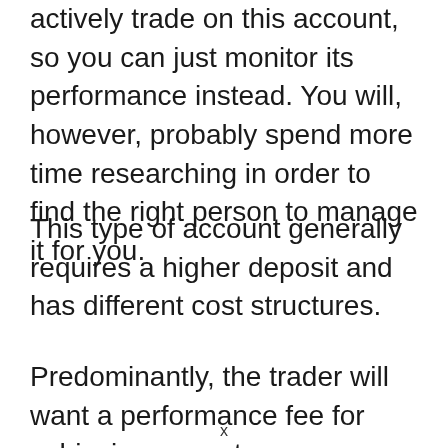actively trade on this account, so you can just monitor its performance instead. You will, however, probably spend more time researching in order to find the right person to manage it for you.
This type of account generally requires a higher deposit and has different cost structures.
Predominantly, the trader will want a performance fee for achieving any returns
x